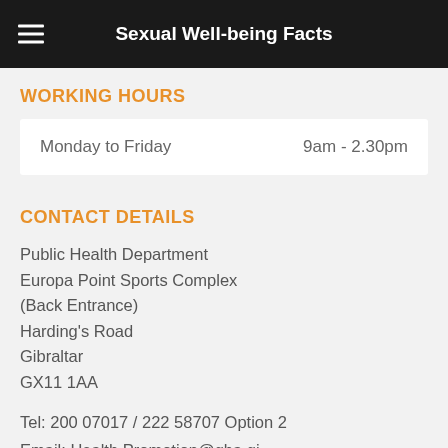Sexual Well-being Facts
WORKING HOURS
| Day | Hours |
| --- | --- |
| Monday to Friday | 9am - 2.30pm |
CONTACT DETAILS
Public Health Department
Europa Point Sports Complex
(Back Entrance)
Harding's Road
Gibraltar
GX11 1AA
Tel: 200 07017 / 222 58707 Option 2
Email: Health.Promotion@gha.gi